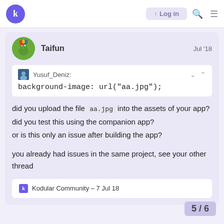k  Log in  🔍  ☰
Taifun   Jul '18
Yusuf_Deniz:
background-image: url("aa.jpg");
did you upload the file aa.jpg into the assets of your app?
did you test this using the companion app?
or is this only an issue after building the app?

you already had issues in the same project, see your other thread
k  Kodular Community – 7 Jul 18
5 / 6